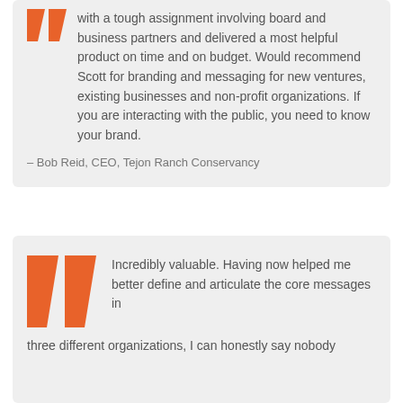with a tough assignment involving board and business partners and delivered a most helpful product on time and on budget. Would recommend Scott for branding and messaging for new ventures, existing businesses and non-profit organizations. If you are interacting with the public, you need to know your brand.
– Bob Reid, CEO, Tejon Ranch Conservancy
Incredibly valuable. Having now helped me better define and articulate the core messages in three different organizations, I can honestly say nobody